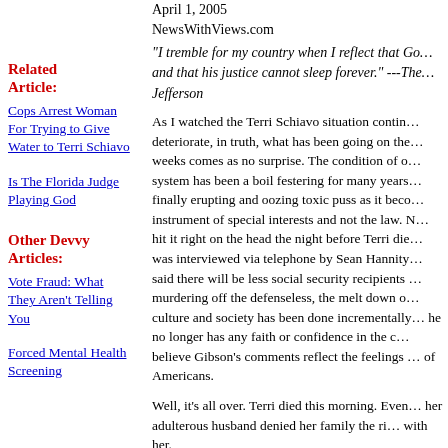April 1, 2005
NewsWithViews.com
"I tremble for my country when I reflect that God is just, and that his justice cannot sleep forever." ---Thomas Jefferson
Related Article:
Cops Arrest Woman For Trying to Give Water to Terri Schiavo
Is The Florida Judge Playing God
Other Devvy Articles:
Vote Fraud: What They Aren't Telling You
Forced Mental Health Screening
As I watched the Terri Schiavo situation continue to deteriorate, in truth, what has been going on these past weeks comes as no surprise. The condition of our system has been a boil festering for many years, finally erupting and oozing toxic puss as it becomes an instrument of special interests and not the law. My dad hit it right on the head the night before Terri died. He was interviewed via telephone by Sean Hannity and said there will be less social security recipients by murdering off the defenseless, the melt down of our culture and society has been done incrementally, that he no longer has any faith or confidence in the courts, believe Gibson's comments reflect the feelings of many of Americans.
Well, it's all over. Terri died this morning. Even in death her adulterous husband denied her family the right to be with her.